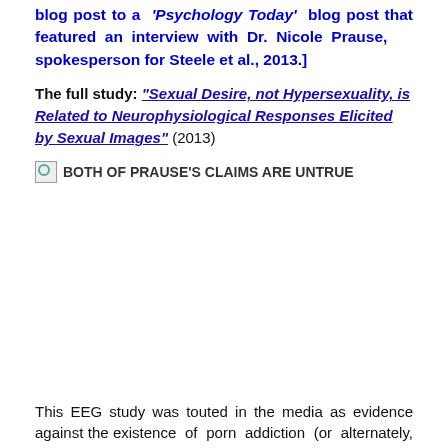blog post to a 'Psychology Today' blog post that featured an interview with Dr. Nicole Prause, spokesperson for Steele et al., 2013.]
The full study: "Sexual Desire, not Hypersexuality, is Related to Neurophysiological Responses Elicited by Sexual Images" (2013)
[Figure (other): Broken image placeholder with alt text: BOTH OF PRAUSE'S CLAIMS ARE UNTRUE]
This EEG study was touted in the media as evidence against the existence of porn addiction (or alternately, sex addiction). In